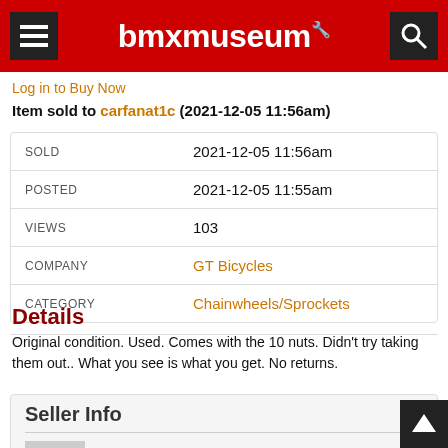bmxmuseum
Log in to Buy Now
Item sold to carfanat1c (2021-12-05 11:56am)
| Field | Value |
| --- | --- |
| SOLD | 2021-12-05 11:56am |
| POSTED | 2021-12-05 11:55am |
| VIEWS | 103 |
| COMPANY | GT Bicycles |
| CATEGORY | Chainwheels/Sprockets |
Details
Original condition. Used. Comes with the 10 nuts. Didn't try taking them out.. What you see is what you get. No returns.
Seller Info
ryno73